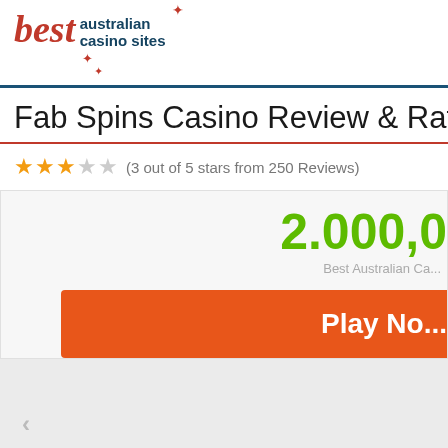best australian casino sites
Fab Spins Casino Review & Rating
(3 out of 5 stars from 250 Reviews)
2.000,0
Best Australian Ca...
Play No...